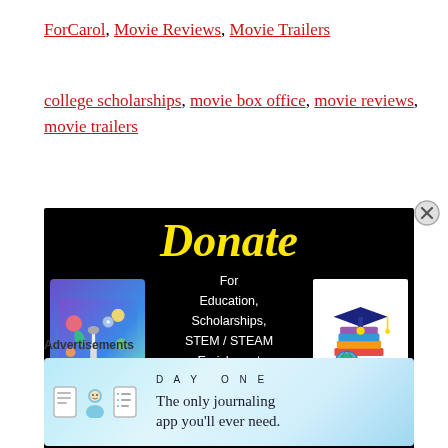ForCarol, Movie Reviews, Movie Trailers
college scholarships, movie box office, movie reviews, movie trailers
[Figure (illustration): Donation banner on black background. Large yellow italic 'Donate' text at top. Center text: 'For Education, Scholarships, STEM / STEAM Enrichment' and 'ForCarol.org' in yellow. Left side shows STEM/science illustration (microscope, colorful icons on blue-purple background). Right side shows graduation cap on stack of books with globe illustration on white background. Close/X button at bottom right.]
Advertisements
[Figure (illustration): Day One journaling app advertisement. Light blue gradient background. Left side shows app icons (notebook, person, list). Text: 'DAY ONE' in letter-spaced caps and 'The only journaling app you'll ever need.']